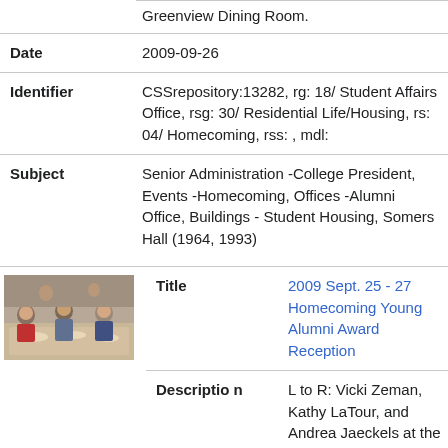|  | Greenview Dining Room. |
| Date | 2009-09-26 |
| Identifier | CSSrepository:13282, rg: 18/ Student Affairs Office, rsg: 30/ Residential Life/Housing, rs: 04/ Homecoming, rss: , mdl: |
| Subject | Senior Administration -College President, Events -Homecoming, Offices -Alumni Office, Buildings - Student Housing, Somers Hall (1964, 1993) |
[Figure (photo): Thumbnail photo of people at a reception, seated at a table.]
| Title | 2009 Sept. 25 - 27 Homecoming Young Alumni Award Reception |
| Description | L to R: Vicki Zeman, Kathy LaTour, and Andrea Jaeckels at the reception for the Young Alumni |